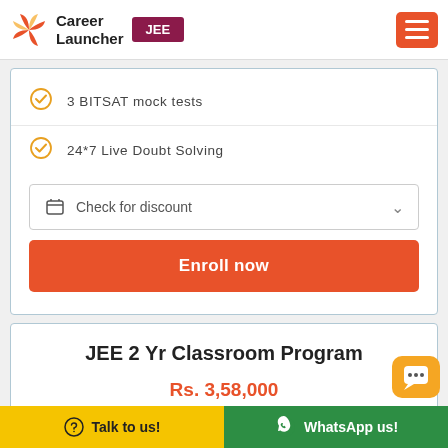[Figure (logo): Career Launcher logo with pinwheel icon and JEE badge]
3 BITSAT mock tests
24*7 Live Doubt Solving
Check for discount
Enroll now
JEE 2 Yr Classroom Program
Rs. 3,58,000
Talk to us!
WhatsApp us!